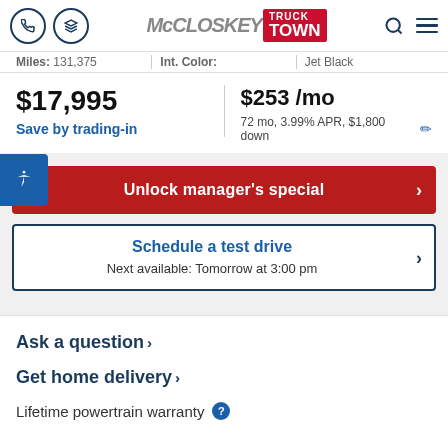McCloskey Truck Town
Miles: 131,375   Int. Color: Jet Black
$17,995
Save by trading-in
$253 /mo
72 mo, 3.99% APR, $1,800 down
Unlock manager's special
Schedule a test drive
Next available: Tomorrow at 3:00 pm
Ask a question
Get home delivery
Lifetime powertrain warranty